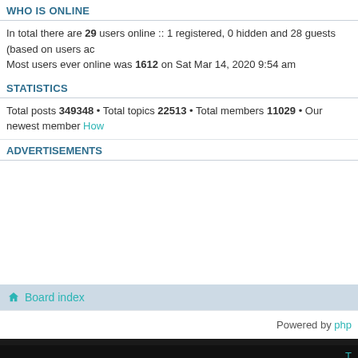WHO IS ONLINE
In total there are 29 users online :: 1 registered, 0 hidden and 28 guests (based on users ac
Most users ever online was 1612 on Sat Mar 14, 2020 9:54 am
STATISTICS
Total posts 349348 • Total topics 22513 • Total members 11029 • Our newest member How
ADVERTISEMENTS
Board index
Powered by php
T
Copyright ©2022